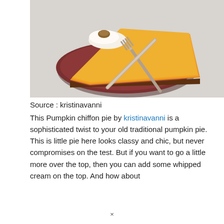[Figure (photo): A slice of pumpkin chiffon pie with whipped cream and a walnut on top, served on a dark brown plate with a silver fork, on a marble surface.]
Source : kristinavanni
This Pumpkin chiffon pie by kristinavanni is a sophisticated twist to your old traditional pumpkin pie. This is little pie here looks classy and chic, but never compromises on the test. But if you want to go a little more over the top, then you can add some whipped cream on the top. And how about
×